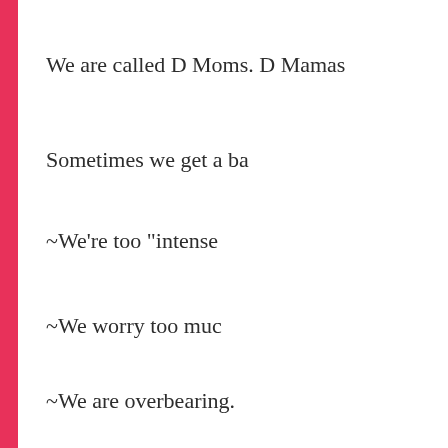We are called D Moms.  D Mamas
Sometimes we get a ba
~We're too "intense
~We worry too muc
~We are overbearing.
~We over think.
~We over react.